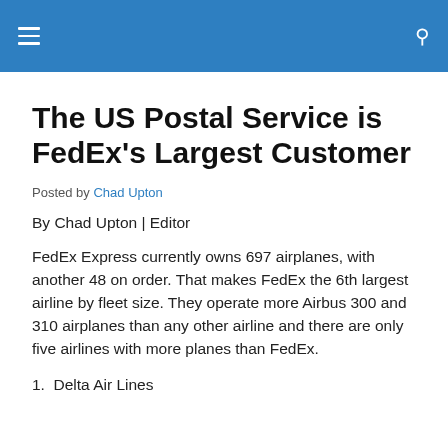The US Postal Service is FedEx's Largest Customer
Posted by Chad Upton
By Chad Upton | Editor
FedEx Express currently owns 697 airplanes, with another 48 on order. That makes FedEx the 6th largest airline by fleet size. They operate more Airbus 300 and 310 airplanes than any other airline and there are only five airlines with more planes than FedEx.
1. Delta Air Lines